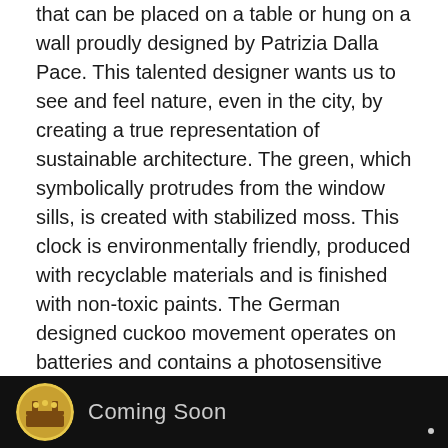that can be placed on a table or hung on a wall proudly designed by Patrizia Dalla Pace. This talented designer wants us to see and feel nature, even in the city, by creating a true representation of sustainable architecture. The green, which symbolically protrudes from the window sills, is created with stabilized moss. This clock is environmentally friendly, produced with recyclable materials and is finished with non-toxic paints. The German designed cuckoo movement operates on batteries and contains a photosensitive sensor that automatically silences the cuckoo when it's dark. There also buttons that allow you to adjust the sound volume or turn it off altogether. Please note that slight variations from photographs are normal as each clock we sell is hand crafted.
[Figure (other): Black banner at the bottom of the page showing a circular logo on the left and the text 'Coming Soon' in grey, with a small grey dot in the bottom-right corner.]